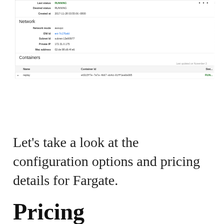[Figure (screenshot): AWS console screenshot showing task details: Last status RUNNING, Desired status RUNNING, Created at 2017-11-28 03:55:06 -0800. Network section with Network mode awsvpc, ENI Id eni-7c176afd, Subnet Id subnet-13e90977, Private IP 172.31.0.175, Mac address 02:de:98:d6:4f:e6. Containers section with a table showing Name, Container Id, Stat... columns, with one row: replay, e6315f7e-7a7a-4b67-ab4d-01ff1ea0a005, RUN...]
Let's take a look at the configuration options and pricing details for Fargate.
Pricing